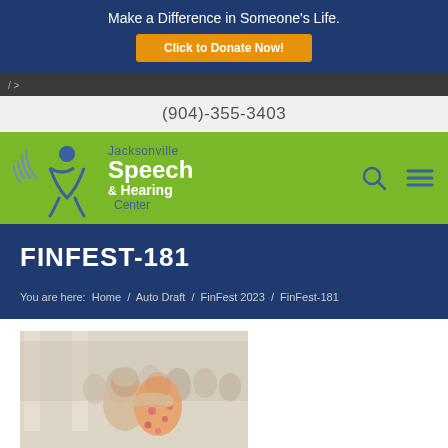Make a Difference in Someone's Life.
Click to Donate Now!
/>
(904)-355-3403
[Figure (logo): Jacksonville Speech & Hearing Center logo with sound wave icon on green background]
FINFEST-181
You are here:  Home  /  Auto Draft  /  FinFest 2023  /  FinFest-181
[Figure (photo): Photo of two people hugging at an event, with a crowd of people sitting in the background in a bright room with pillars]